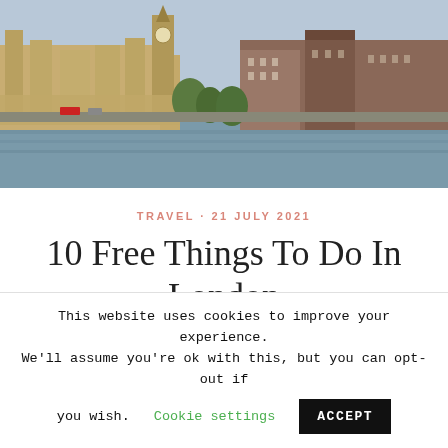[Figure (photo): Aerial view of London showing the Houses of Parliament, Big Ben, and surrounding historic buildings along the Thames River.]
TRAVEL · 21 JULY 2021
10 Free Things To Do In London
I may be slightly biased, but if you ask me,
This website uses cookies to improve your experience. We'll assume you're ok with this, but you can opt-out if you wish. Cookie settings ACCEPT